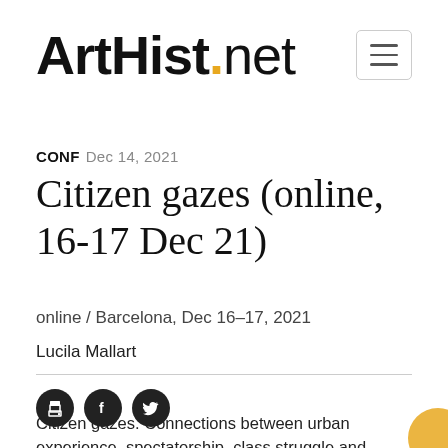ArtHist.net
CONF Dec 14, 2021
Citizen gazes (online, 16-17 Dec 21)
online / Barcelona, Dec 16–17, 2021
Lucila Mallart
[Figure (infographic): Social sharing icons: print, Facebook, Twitter]
Citizen gazes. Connections between urban experience, spectatorship, class struggle and visuality in the Hispanic